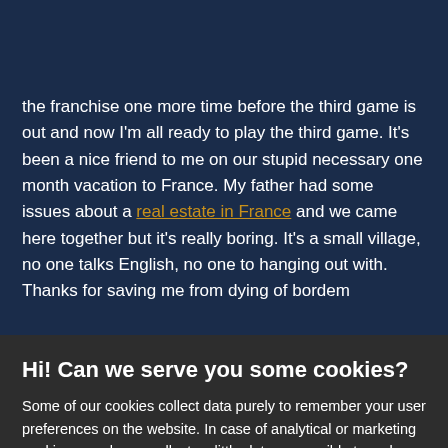Y logo and hamburger menu
the franchise one more time before the third game is out and now I'm all ready to play the third game. It's been a nice friend to me on our stupid necessary one month vacation to France. My father had some issues about a real estate in France and we came here together but it's really boring. It's a small village, no one talks English, no one to hanging out with. Thanks for saving me from dying of bordem
Hi! Can we serve you some cookies?
Some of our cookies collect data purely to remember your user preferences on the website. In case of analytical or marketing cookies, we always collect as little data as possible to make sure we keep our marketing well targeted - which often results in you not being spammed by any of our ads at all. We're also never looking at data about you in particular, everything at Bohemia is analyzed in an aggregated form. Learn more
Allow all cookies
I want more options